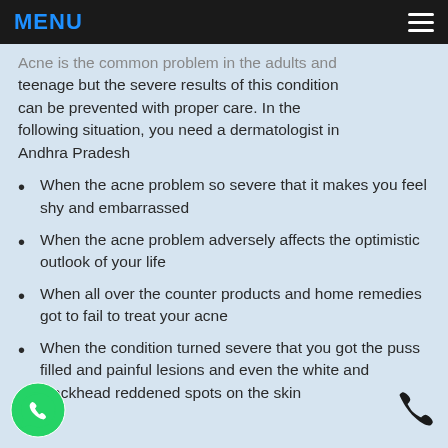MENU
Acne is the common problem in the adults and teenage but the severe results of this condition can be prevented with proper care. In the following situation, you need a dermatologist in Andhra Pradesh
When the acne problem so severe that it makes you feel shy and embarrassed
When the acne problem adversely affects the optimistic outlook of your life
When all over the counter products and home remedies got to fail to treat your acne
When the condition turned severe that you got the puss filled and painful lesions and even the white and blackhead reddened spots on the skin